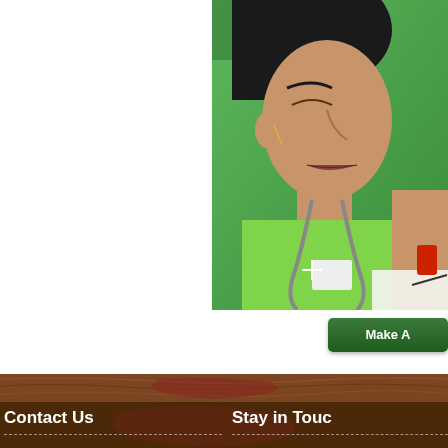[Figure (photo): A woman with dark hair in a green shirt wearing a lanyard, photographed from the side against a green background. She appears to be at some kind of event or workspace.]
Make A
Contact Us
Stay in Touch